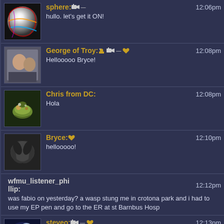sphere: 12:06pm — hullo. let's get it ON!
George of Troy: 12:08pm — Hellooooo Bryce!
Chris from DC: 12:08pm — Hola
Bryce: 12:10pm — hellooooo!
wfmu_listener_phillip: 12:12pm — was fabio on yesterday? a wasp stung me in crotona park and i had to use my EP pen and go to the ER at st Barnbus Hosp
steveo: 12:13pm — i cleared my throat and then someone in my ears sneezed (hi)
Dave in Vermont: 12:16pm — Donna opened The Gateway to Joy for us yesterday.